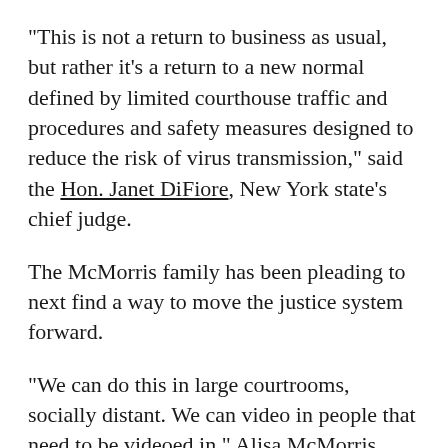"This is not a return to business as usual, but rather it's a return to a new normal defined by limited courthouse traffic and procedures and safety measures designed to reduce the risk of virus transmission," said the Hon. Janet DiFiore, New York state's chief judge.
The McMorris family has been pleading to next find a way to move the justice system forward.
"We can do this in large courtrooms, socially distant. We can video in people that need to be videoed in," Alisa McMorris said.
But because four court employees, including three judges, have died of COVID-19 the chief judge said ctions and that state has will not be a comfort